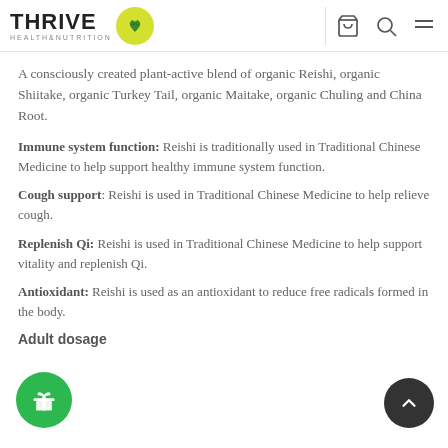THRIVE HEALTH&NUTRITION
A consciously created plant-active blend of organic Reishi, organic Shiitake, organic Turkey Tail, organic Maitake, organic Chuling and China Root.
Immune system function: Reishi is traditionally used in Traditional Chinese Medicine to help support healthy immune system function.
Cough support: Reishi is used in Traditional Chinese Medicine to help relieve cough.
Replenish Qi: Reishi is used in Traditional Chinese Medicine to help support vitality and replenish Qi.
Antioxidant: Reishi is used as an antioxidant to reduce free radicals formed in the body.
Adult dosage